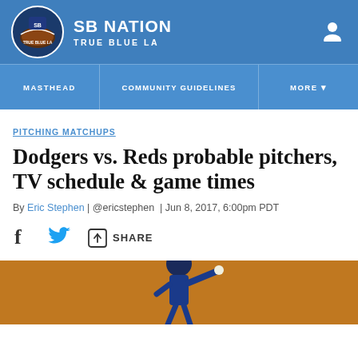SB NATION — TRUE BLUE LA
PITCHING MATCHUPS
Dodgers vs. Reds probable pitchers, TV schedule & game times
By Eric Stephen | @ericstephen | Jun 8, 2017, 6:00pm PDT
SHARE
[Figure (photo): Baseball pitcher in blue Dodgers uniform winding up to throw, photographed against a brown dirt background]